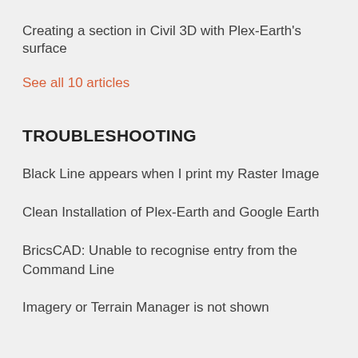Creating a section in Civil 3D with Plex-Earth's surface
See all 10 articles
TROUBLESHOOTING
Black Line appears when I print my Raster Image
Clean Installation of Plex-Earth and Google Earth
BricsCAD: Unable to recognise entry from the Command Line
Imagery or Terrain Manager is not shown